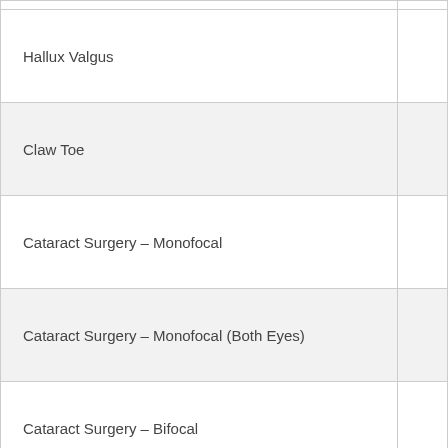| Procedure |  |
| --- | --- |
| Hallux Valgus |  |
| Claw Toe |  |
| Cataract Surgery – Monofocal |  |
| Cataract Surgery – Monofocal (Both Eyes) |  |
| Cataract Surgery – Bifocal |  |
| Cataract Surgery – Bifocal (Both Eyes) |  |
| Hemorrhoids |  |
| Hemorrhoids with Endostapler (Painless) |  |